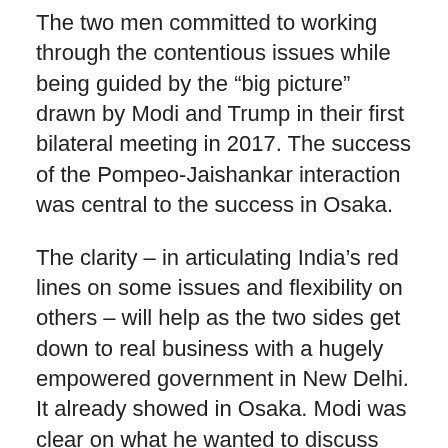The two men committed to working through the contentious issues while being guided by the “big picture” drawn by Modi and Trump in their first bilateral meeting in 2017. The success of the Pompeo-Jaishankar interaction was central to the success in Osaka.
The clarity – in articulating India’s red lines on some issues and flexibility on others – will help as the two sides get down to real business with a hugely empowered government in New Delhi. It already showed in Osaka. Modi was clear on what he wanted to discuss with Trump, listing four topics in front of the cameras in a rather unusual step. The four topics were Iran, 5G, bilateral relations and defence relationships.
Modi seemed unruffled by Trump’s typically nasty tweet a day earlier, demanding that India withdraw